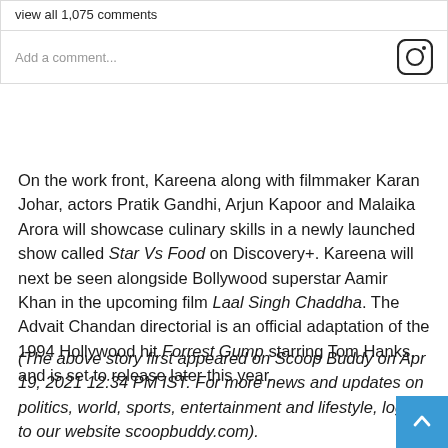view all 1,075 comments
Add a comment...
On the work front, Kareena along with filmmaker Karan Johar, actors Pratik Gandhi, Arjun Kapoor and Malaika Arora will showcase culinary skills in a newly launched show called Star Vs Food on Discovery+. Kareena will next be seen alongside Bollywood superstar Aamir Khan in the upcoming film Laal Singh Chaddha. The Advait Chandan directorial is an official adaptation of the 1994 Hollywood hit Forrest Gump starring Tom Hanks, and is set to release later this year.
(The above story first appeared on Scoop Buddy on Apr 19, 2021 12:34 PM IST. For more news and updates on politics, world, sports, entertainment and lifestyle, log on to our website scoopbuddy.com).